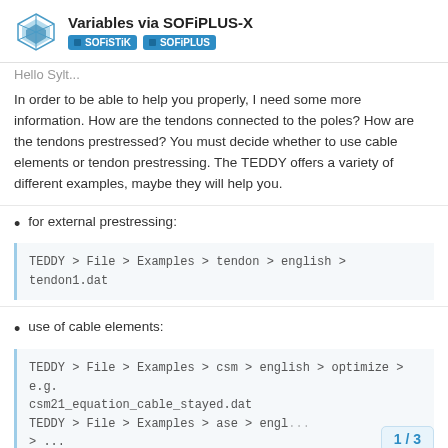Variables via SOFiPLUS-X | SOFiSTiK | SOFiPLUS
Hello Sylt...
In order to be able to help you properly, I need some more information. How are the tendons connected to the poles? How are the tendons prestressed? You must decide whether to use cable elements or tendon prestressing. The TEDDY offers a variety of different examples, maybe they will help you.
for external prestressing:
TEDDY > File > Examples > tendon > english > tendon1.dat
use of cable elements:
TEDDY > File > Examples > csm > english > optimize > e.g. csm21_equation_cable_stayed.dat
TEDDY > File > Examples > ase > engl...
>...
1 / 3